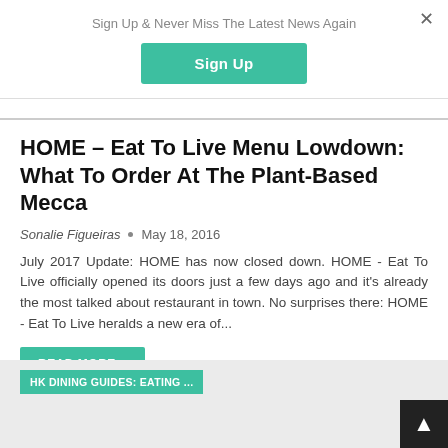Sign Up & Never Miss The Latest News Again
Sign Up
HOME – Eat To Live Menu Lowdown: What To Order At The Plant-Based Mecca
Sonalie Figueiras  •  May 18, 2016
July 2017 Update: HOME has now closed down. HOME - Eat To Live officially opened its doors just a few days ago and it's already the most talked about restaurant in town. No surprises there: HOME - Eat To Live heralds a new era of...
READ MORE...
HK DINING GUIDES: EATING ...